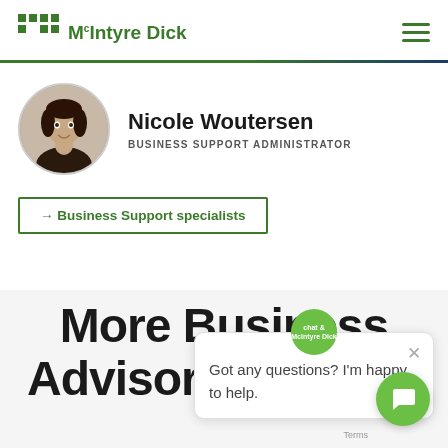[Figure (logo): McIntyre Dick logo with green grid icon and green text]
[Figure (photo): Circular profile photo of Nicole Woutersen, a young woman with dark hair]
Nicole Woutersen
BUSINESS SUPPORT ADMINISTRATOR
→ Business Support specialists
[Figure (other): Share icon (network/share symbol)]
[Figure (other): Chat bubble popup with McIntyre Dick icon, close X button, and text: Got any questions? I'm happy to help.]
Got any questions? I'm happy to help.
More Business Advisory services